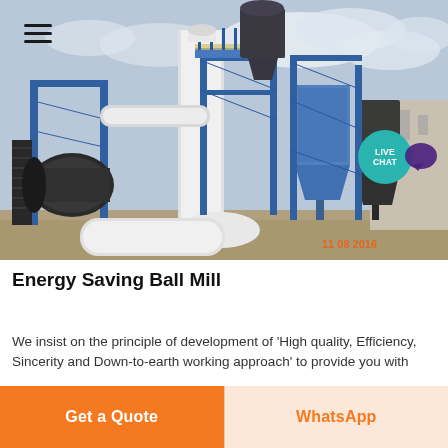[Figure (photo): Industrial ball mill facility with blue steel framework, large cylindrical grinding mills, white insulated pipes, dust collection hoppers, and conveyor systems. Orange timestamp '11-08 2016' visible in lower right of photo. Overcast sky in background.]
Energy Saving Ball Mill
We insist on the principle of development of 'High quality, Efficiency, Sincerity and Down-to-earth working approach' to provide you with